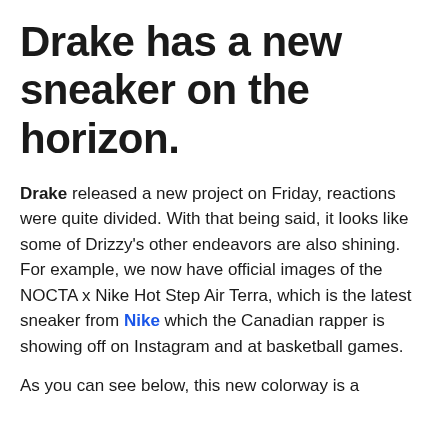Drake has a new sneaker on the horizon.
Drake released a new project on Friday, reactions were quite divided. With that being said, it looks like some of Drizzy's other endeavors are also shining. For example, we now have official images of the NOCTA x Nike Hot Step Air Terra, which is the latest sneaker from Nike which the Canadian rapper is showing off on Instagram and at basketball games.
As you can see below, this new colorway is a